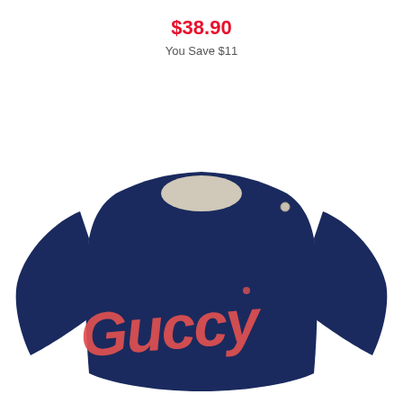$38.90
You Save $11
[Figure (photo): Navy blue children's sweatshirt with 'Guccy' printed in red/coral lettering on the front, shown from the upper torso up. The sweatshirt has a crew neck and small button detail on the shoulder.]